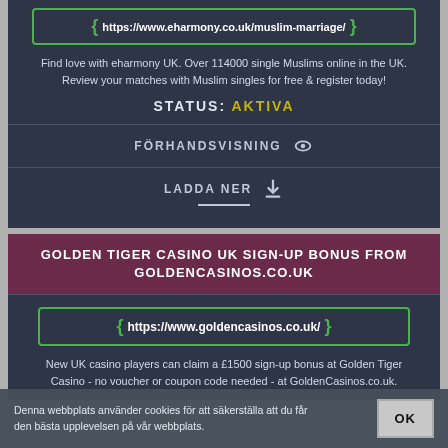https://www.eharmony.co.uk/muslim-marriage/
Find love with eharmony UK. Over 114000 single Muslims online in the UK. Review your matches with Muslim singles for free & register today!
STATUS: AKTIVA
FÖRHANDSVISNING
LADDA NER
GOLDEN TIGER CASINO UK SIGN-UP BONUS FROM GOLDENCASINOS.CO.UK
https://www.goldencasinos.co.uk/
New UK casino players can claim a £1500 sign-up bonus at Golden Tiger Casino - no voucher or coupon code needed - at GoldenCasinos.co.uk.
Denna webbplats använder cookies för att säkerställa att du får den bästa upplevelsen på vår webbplats.